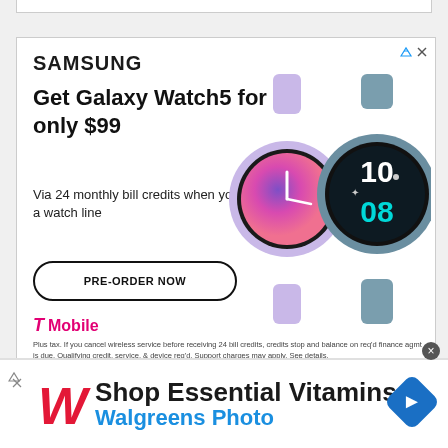[Figure (screenshot): Top partial UI bar, gray/white]
[Figure (infographic): Samsung Galaxy Watch5 advertisement. Shows two smartwatches (lavender and blue-gray). Text: SAMSUNG, Get Galaxy Watch5 for only $99, Via 24 monthly bill credits when you add a watch line, PRE-ORDER NOW button, T-Mobile logo, disclaimer text.]
[Figure (infographic): Walgreens advertisement. Shows Walgreens cursive W logo in red, text: Shop Essential Vitamins, Walgreens Photo, navigation diamond icon.]